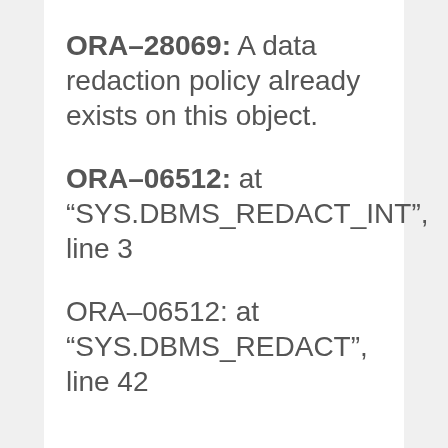ORA-28069: A data redaction policy already exists on this object.
ORA-06512: at “SYS.DBMS_REDACT_INT”, line 3
ORA-06512: at “SYS.DBMS_REDACT”, line 42